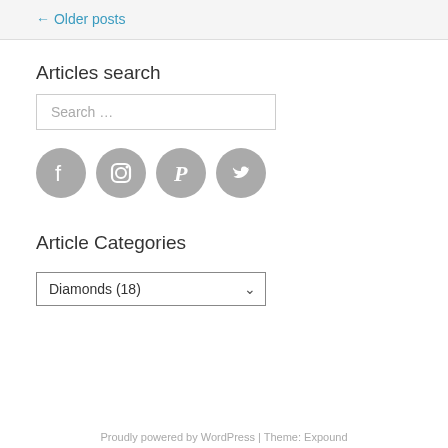← Older posts
Articles search
Search …
[Figure (illustration): Four social media icons (Facebook, Instagram, Pinterest, Twitter) displayed as grey circles in a row]
Article Categories
Diamonds  (18)
Proudly powered by WordPress | Theme: Expound